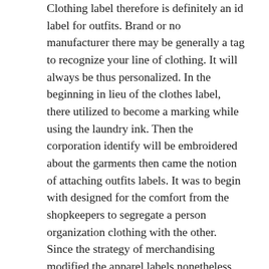Clothing label therefore is definitely an id label for outfits. Brand or no manufacturer there may be generally a tag to recognize your line of clothing. It will always be thus personalized. In the beginning in lieu of the clothes label, there utilized to become a marking while using the laundry ink. Then the corporation identify will be embroidered about the garments then came the notion of attaching outfits labels. It was to begin with designed for the comfort from the shopkeepers to segregate a person organization clothing with the other. Since the strategy of merchandising modified the apparel labels nonetheless remained because the brand identity.
Apparel tags come in different styles, dimensions, kinds and elements. A regular condition of a apparel label will be the rectangle. Additionally, it comes in a sq. or oval condition. It could be during the kind of a band or to be a tag. Occasionally the dimensions is